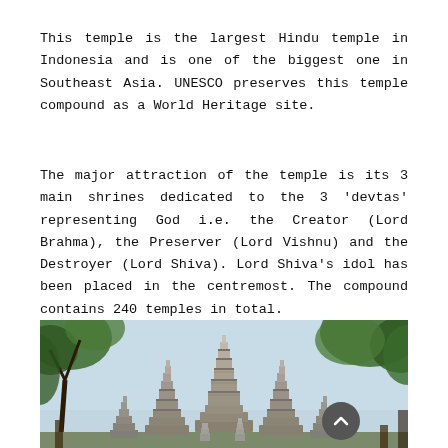This temple is the largest Hindu temple in Indonesia and is one of the biggest one in Southeast Asia. UNESCO preserves this temple compound as a World Heritage site.
The major attraction of the temple is its 3 main shrines dedicated to the 3 'devtas' representing God i.e. the Creator (Lord Brahma), the Preserver (Lord Vishnu) and the Destroyer (Lord Shiva). Lord Shiva's idol has been placed in the centremost. The compound contains 240 temples in total.
[Figure (photo): Photograph of Prambanan Hindu temple complex in Indonesia, showing multiple tall ornate stone spired towers surrounded by trees against a light blue sky.]